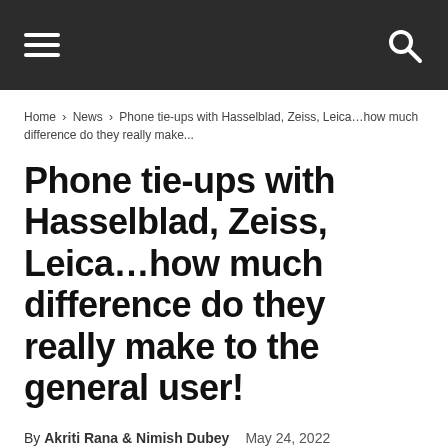Home › News › Phone tie-ups with Hasselblad, Zeiss, Leica…how much difference do they really make...
Phone tie-ups with Hasselblad, Zeiss, Leica…how much difference do they really make to the general user!
By Akriti Rana & Nimish Dubey   May 24, 2022